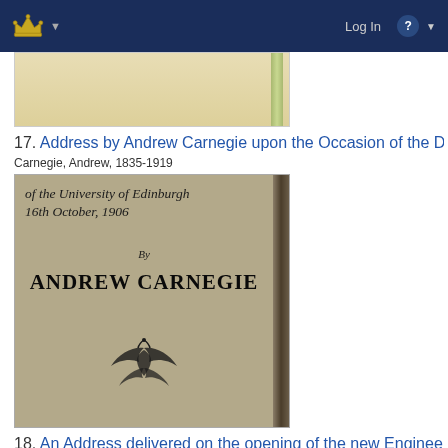Log In
[Figure (photo): Partial view of a book cover from item 16, showing a tan/cream colored cover with a green stripe on the right side.]
17. Address by Andrew Carnegie upon the Occasion of the ...
Carnegie, Andrew, 1835-1919
[Figure (photo): Book cover of 'Address by Andrew Carnegie upon the Occasion of the Opening of the University of Edinburgh, 16th October, 1906'. The cover is grey-brown with italic text at the top reading 'of the University of Edinburgh 16th October, 1906', followed by 'By' in italic, then 'ANDREW CARNEGIE' in bold large text, and a decorative ornamental emblem at the bottom center. A dark spine is visible on the right side.]
18. An Address delivered on the opening of the new Engine...